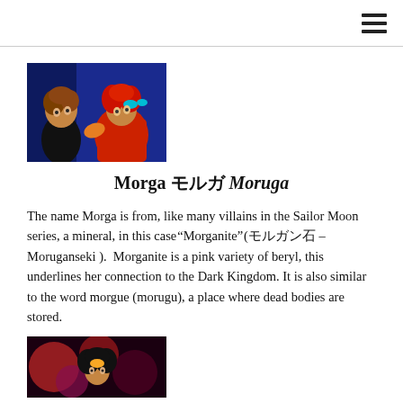☰
[Figure (illustration): Anime-style illustration showing two characters, one with brown curly hair and one with red hair and a teal bow, on a dark blue background.]
Morga モルガ Moruga‎
The name Morga is from, like many villains in the Sailor Moon series, a mineral, in this case "Morganite" (モルガン石 – Moruganseki ). Morganite is a pink variety of beryl, this underlines her connection to the Dark Kingdom. It is also similar to the word morgue (morugu), a place where dead bodies are stored.
[Figure (illustration): Anime-style illustration showing a character with dark hair against a dark background with swirling patterns.]